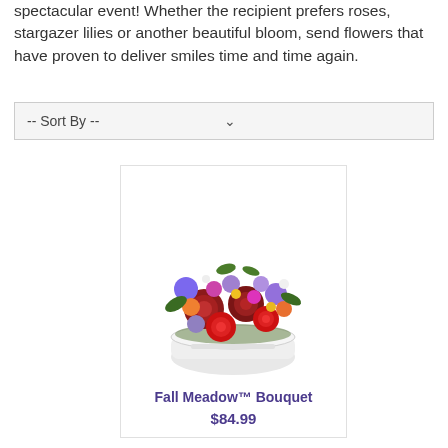spectacular event! Whether the recipient prefers roses, stargazer lilies or another beautiful bloom, send flowers that have proven to deliver smiles time and time again.
-- Sort By --
[Figure (photo): A colorful fall flower bouquet with red roses, dark red chrysanthemums, purple and lavender blooms, and orange alstroemeria arranged in a white round ceramic container with a white ribbon.]
Fall Meadow™ Bouquet
$84.99